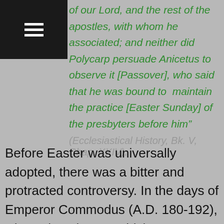of our Lord, and the rest of the apostles, with whom he associated; and neither did Polycarp persuade Anicetus to observe it [Passover], who said that he was bound to maintain the practice [Easter Sunday] of the presbyters before him”
(Ecclesiastical History, Bk. V, Chap. XXIV).
Before Easter was universally adopted, there was a bitter and protracted controversy. In the days of Emperor Commodus (A.D. 180-192), when Victor became bishop at Rome (A.D. 190), the disputed...